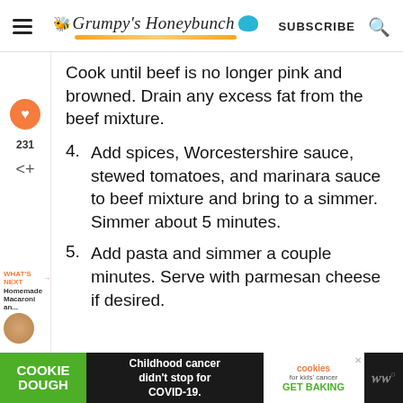Grumpy's Honeybunch | SUBSCRIBE
Cook until beef is no longer pink and browned. Drain any excess fat from the beef mixture.
4. Add spices, Worcestershire sauce, stewed tomatoes, and marinara sauce to beef mixture and bring to a simmer. Simmer about 5 minutes.
5. Add pasta and simmer a couple minutes. Serve with parmesan cheese if desired.
[Figure (screenshot): Website UI overlay showing heart/save button with count 231, share button, and 'What's Next' section with Homemade Macaroni an... thumbnail]
[Figure (screenshot): Cookie Dough / cookies for kids cancer advertisement banner: 'Childhood cancer didn't stop for COVID-19. GET BAKING']